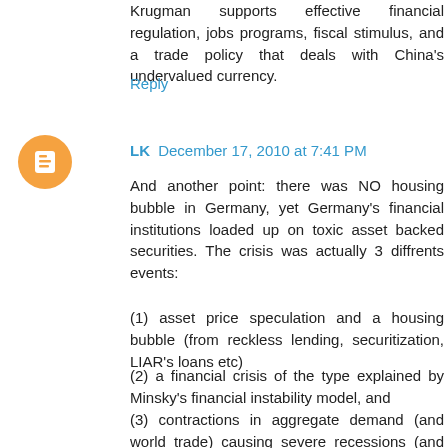Krugman supports effective financial regulation, jobs programs, fiscal stimulus, and a trade policy that deals with China's undervalued currency.
Reply
LK  December 17, 2010 at 7:41 PM
And another point: there was NO housing bubble in Germany, yet Germany's financial institutions loaded up on toxic asset backed securities. The crisis was actually 3 diffrents events:
(1) asset price speculation and a housing bubble (from reckless lending, securitization, LIAR's loans etc)
(2) a financial crisis of the type explained by Minsky's financial instability model, and
(3) contractions in aggregate demand (and world trade) causing severe recessions (and made worse by debt deflation as in the models of Irving Fisher and Minsky).